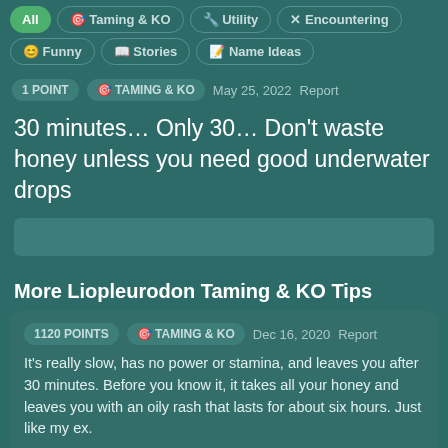All
Taming & KO
Utility
Encountering
Funny
Stories
Name Ideas
1 POINT   TAMING & KO   May 25, 2022   Report
30 minutes… Only 30… Don't waste honey unless you need good underwater drops
More Liopleurodon Taming & KO Tips
1120 POINTS   TAMING & KO   Dec 16, 2020   Report
It's really slow, has no power or stamina, and leaves you after 30 minutes. Before you know it, it takes all your honey and leaves you with an oily rash that lasts for about six hours. Just like my ex.